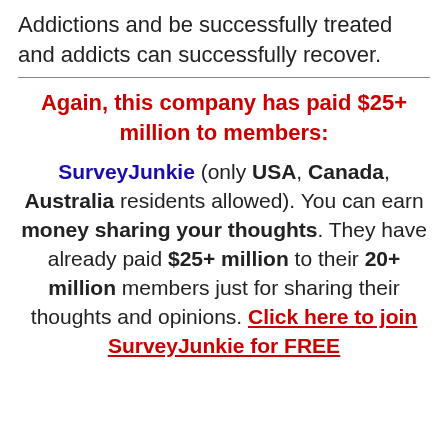Addictions and be successfully treated and addicts can successfully recover.
Again, this company has paid $25+ million to members:
SurveyJunkie (only USA, Canada, Australia residents allowed). You can earn money sharing your thoughts. They have already paid $25+ million to their 20+ million members just for sharing their thoughts and opinions. Click here to join SurveyJunkie for FREE